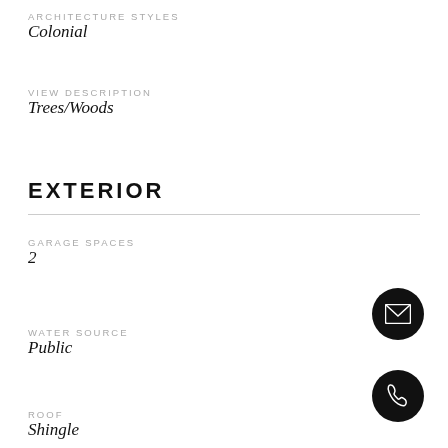ARCHITECTURE STYLES
Colonial
VIEW DESCRIPTION
Trees/Woods
EXTERIOR
GARAGE SPACES
2
WATER SOURCE
Public
ROOF
Shingle